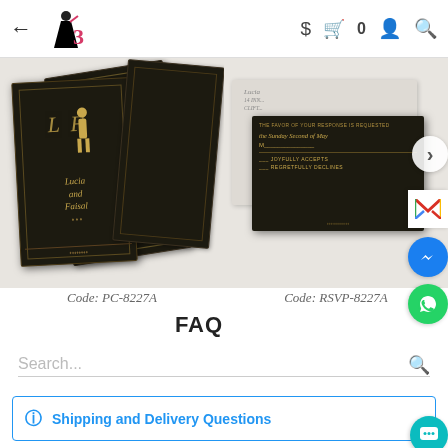← [Logo: 1,2,3 bridal/wedding] $ 🛍 0 👤 🔍
[Figure (photo): Wedding invitation cards - dark/black cards with gold foil design showing couple silhouette, names 'Lucia and Faisal', displayed as a group of overlapping cards. Code: PC-8227A]
[Figure (photo): RSVP card set - dark card with gold text showing 'THE FAVOR OF YOUR RESPONSE IS REQUESTED by Sunday Second of May', with envelope, and RSVP response options 'JOYFULLY ACCEPTS' and 'REGRETFULLY DECLINES'. Code: RSVP-8227A]
Code: PC-8227A
Code: RSVP-8227A
FAQ
Search...
Shipping and Delivery Questions